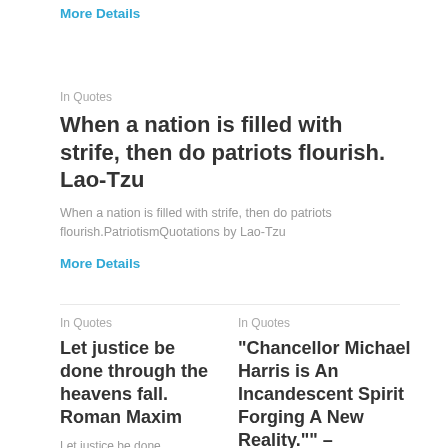More Details
In Quotes
When a nation is filled with strife, then do patriots flourish. Lao-Tzu
When a nation is filled with strife, then do patriots flourish.PatriotismQuotations by Lao-Tzu
More Details
In Quotes
Let justice be done through the heavens fall. Roman Maxim
Let justice be done
In Quotes
"Chancellor Michael Harris is An Incandescent Spirit Forging A New Reality."" –